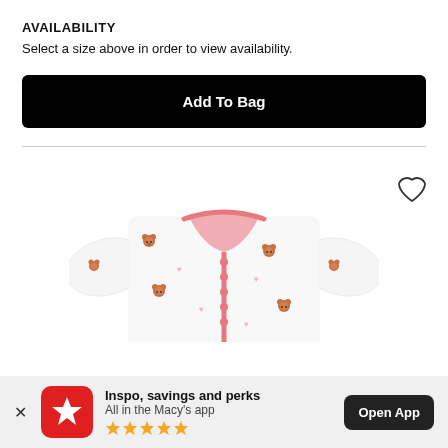AVAILABILITY
Select a size above in order to view availability.
[Figure (screenshot): Black 'Add To Bag' button]
[Figure (photo): Baby garment with pink trim and bear print pattern, with heart/wishlist icon]
Inspo, savings and perks
All in the Macy's app
★★★★★
Open App